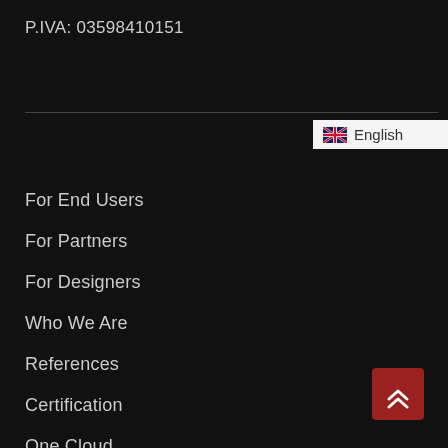P.IVA: 03598410151
[Figure (other): Language selector button with UK flag and 'English' text on white background]
For End Users
For Partners
For Designers
Who We Are
References
Certification
One Cloud
[Figure (other): Dark red back-to-top button with double chevron up arrows]